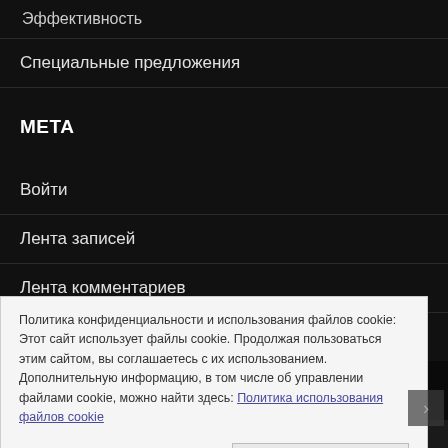Эффективность
Специальные предложения
META
Войти
Лента записей
Лента комментариев
WordPress.org
Политика конфиденциальности и использования файлов cookie: Этот сайт использует файлы cookie. Продолжая пользоваться этим сайтом, вы соглашаетесь с их использованием. Дополнительную информацию, в том числе об управлении файлами cookie, можно найти здесь: Политика использования файлов cookie
Принять и закрыть